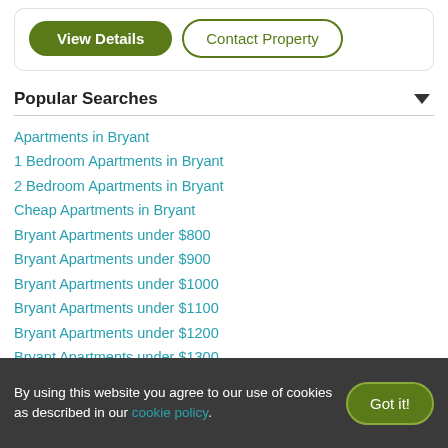[Figure (screenshot): Two buttons: 'View Details' (green filled, rounded) and 'Contact Property' (green outlined, rounded)]
Popular Searches
Apartments in Bryant
1 Bedroom Apartments in Bryant
2 Bedroom Apartments in Bryant
Cheap Apartments in Bryant
Bryant Apartments under $800
Bryant Apartments under $900
Bryant Apartments under $1000
Bryant Apartments under $1100
Bryant Apartments under $1200
Bryant Apartments under $1300
By using this website you agree to our use of cookies as described in our cookie policy.